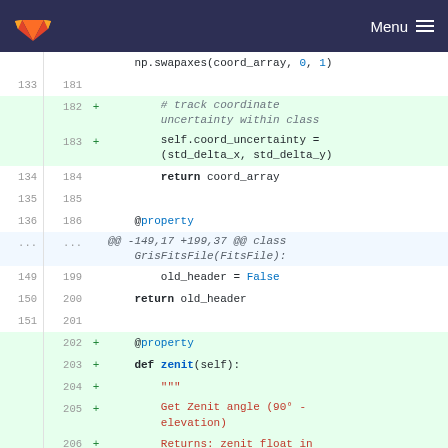GitLab logo | Menu
np.swapaxes(coord_array, 0, 1)
133  181
182 + # track coordinate uncertainty within class
183 + self.coord_uncertainty = (std_delta_x, std_delta_y)
134  184     return coord_array
135  185
136  186     @property
...  ...  @@ -149,17 +199,37 @@ class GrisFitsFile(FitsFile):
149  199         old_header = False
150  200     return old_header
151  201
202 + @property
203 + def zenit(self):
204 + """
205 + Get Zenit angle (90° - elevation)
206 + Returns: zenit float in